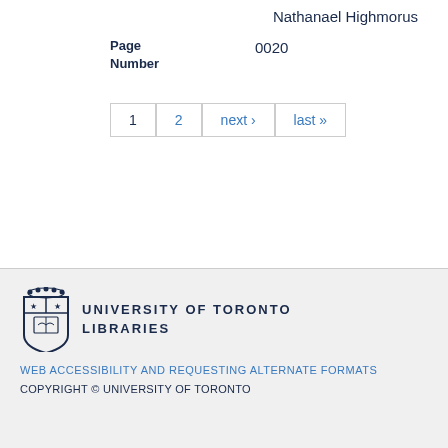Nathanael Highmorus
| Page Number |  |
| --- | --- |
| Page Number | 0020 |
1  2  next ›  last »
UNIVERSITY OF TORONTO LIBRARIES
WEB ACCESSIBILITY AND REQUESTING ALTERNATE FORMATS
COPYRIGHT © UNIVERSITY OF TORONTO